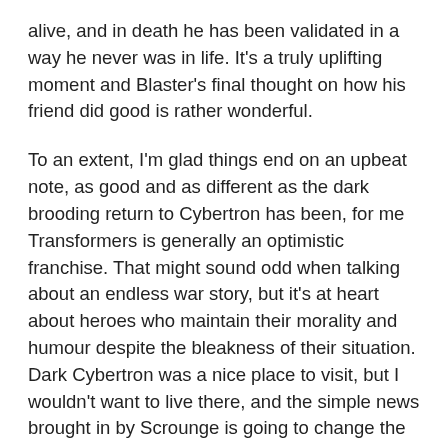alive, and in death he has been validated in a way he never was in life. It's a truly uplifting moment and Blaster's final thought on how his friend did good is rather wonderful.
To an extent, I'm glad things end on an upbeat note, as good and as different as the dark brooding return to Cybertron has been, for me Transformers is generally an optimistic franchise. That might sound odd when talking about an endless war story, but it's at heart about heroes who maintain their morality and humour despite the bleakness of their situation. Dark Cybertron was a nice place to visit, but I wouldn't want to live there, and the simple news brought in by Scrounge is going to change the tone of the second half of this arc and will stop things getting too maudlin.
Oh, and OK, Soundwave's message from Earth technically doesn't describe the situation on the planet at the time he sent it (most obviously in describing the